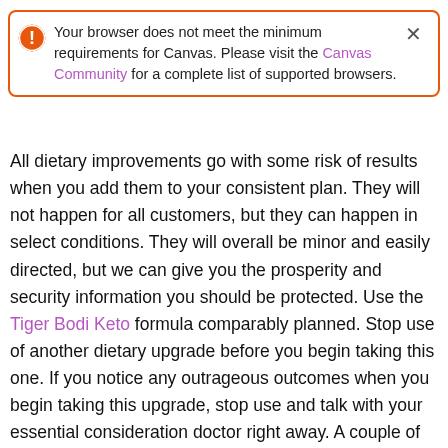Your browser does not meet the minimum requirements for Canvas. Please visit the Canvas Community for a complete list of supported browsers.
All dietary improvements go with some risk of results when you add them to your consistent plan. They will not happen for all customers, but they can happen in select conditions. They will overall be minor and easily directed, but we can give you the prosperity and security information you should be protected. Use the Tiger Bodi Keto formula comparably planned. Stop use of another dietary upgrade before you begin taking this one. If you notice any outrageous outcomes when you begin taking this upgrade, stop use and talk with your essential consideration doctor right away. A couple of individuals choose to converse with their PCP before they start using the improvement to be better taught about their current prosperity.